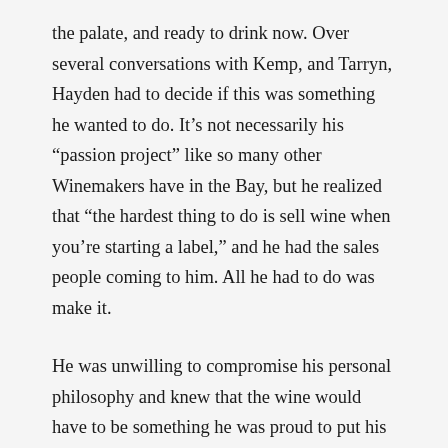the palate, and ready to drink now. Over several conversations with Kemp, and Tarryn, Hayden had to decide if this was something he wanted to do. It’s not necessarily his “passion project” like so many other Winemakers have in the Bay, but he realized that “the hardest thing to do is sell wine when you’re starting a label,” and he had the sales people coming to him. All he had to do was make it.
He was unwilling to compromise his personal philosophy and knew that the wine would have to be something he was proud to put his name on, so through multiple chats with Kemp, they came to an agreement, and Organised Chaos became a reality. “For me, it’s an expression of me. I’m not going to squeeze margins. I’m not in a rise for a business. I’m in a rise because I